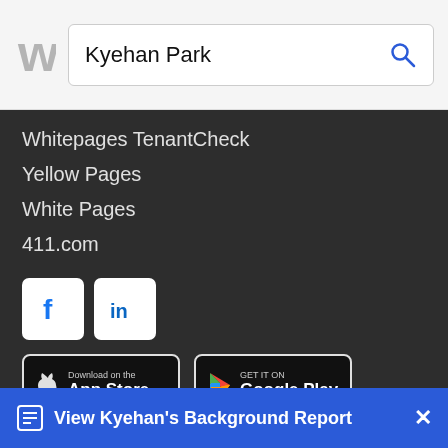Kyehan Park
Whitepages TenantCheck
Yellow Pages
White Pages
411.com
[Figure (logo): Facebook and LinkedIn social media icons]
[Figure (infographic): Download on the App Store and Get it on Google Play buttons]
View Kyehan's Background Report